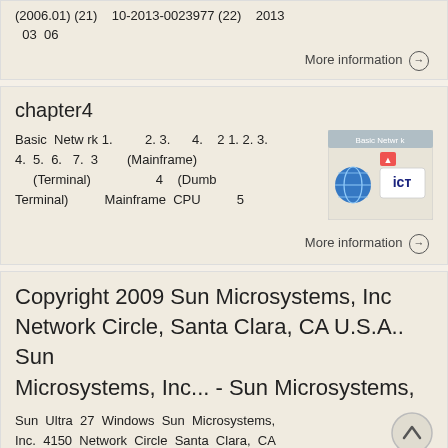(2006.01) (21)    10-2013-0023977 (22)    2013 03  06
More information →
chapter4
Basic Netw rk 1.    2. 3.    4.    2 1. 2. 3. 4.  5.  6.   7.  3        (Mainframe)         (Terminal)                      4    (Dumb Terminal)          Mainframe  CPU          5
More information →
Copyright 2009 Sun Microsystems, Inc Network Circle, Santa Clara, CA U.S.A.. Sun Microsystems, Inc... - Sun Microsystems,
Sun  Ultra  27  Windows  Sun  Microsystems, Inc.  4150  Network  Circle  Santa  Clara,  CA